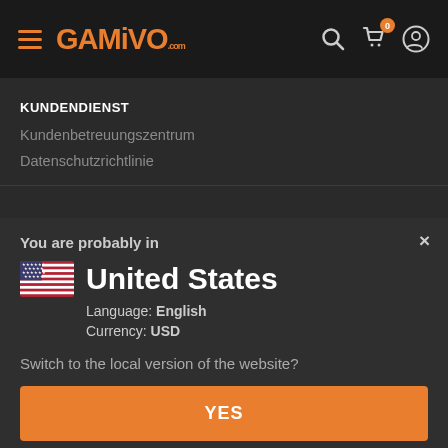GAMIVO.com navigation header with hamburger menu, logo, search, cart (0), and user icon
KUNDENDIENST
Kundenbetreuungszentrum
Datenschutzrichtlinie
You are probably in
United States
Language: English
Currency: USD
Switch to the local version of the website?
YES